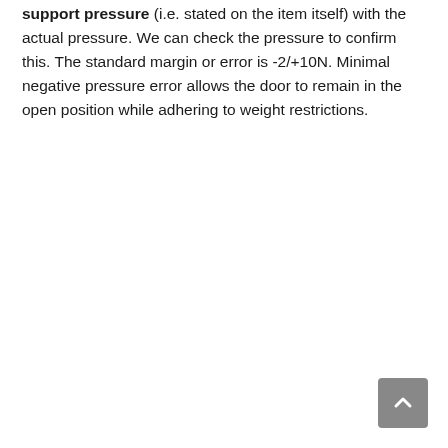support pressure (i.e. stated on the item itself) with the actual pressure. We can check the pressure to confirm this. The standard margin or error is -2/+10N. Minimal negative pressure error allows the door to remain in the open position while adhering to weight restrictions.